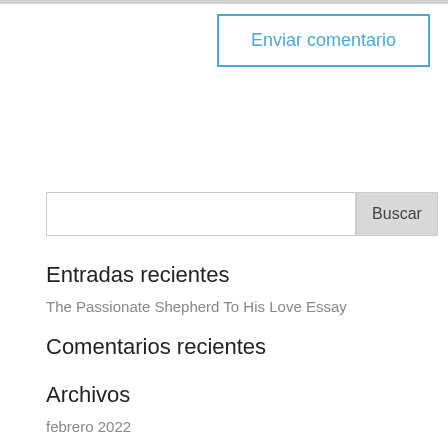Enviar comentario
Buscar
Entradas recientes
The Passionate Shepherd To His Love Essay
Comentarios recientes
Archivos
febrero 2022